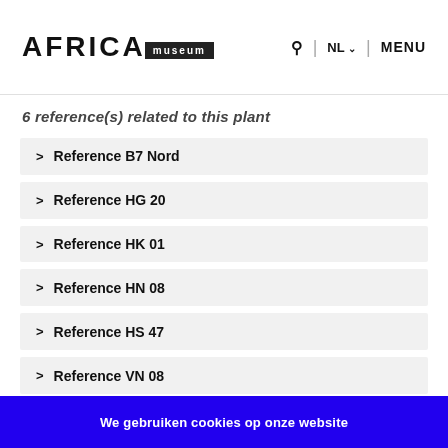AFRICA museum | NL | MENU
6 reference(s) related to this plant
> Reference B7 Nord
> Reference HG 20
> Reference HK 01
> Reference HN 08
> Reference HS 47
> Reference VN 08
We gebruiken cookies op onze website